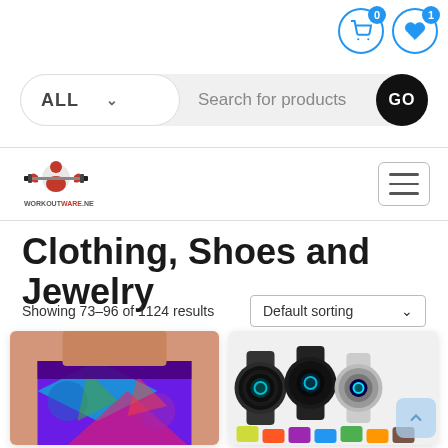[Figure (screenshot): Shopping cart icon with badge showing 0]
[Figure (screenshot): Heart/wishlist icon with badge showing 1]
[Figure (screenshot): Search bar with ALL category selector and GO button]
[Figure (logo): WorkoutWare.net logo with muscular figure graphic]
[Figure (screenshot): Hamburger menu icon]
Clothing, Shoes and Jewelry
Showing 73–96 of 1124 results
Default sorting
[Figure (photo): Woman wearing colorful patterned workout leggings]
[Figure (photo): Smart watches with colorful bands]